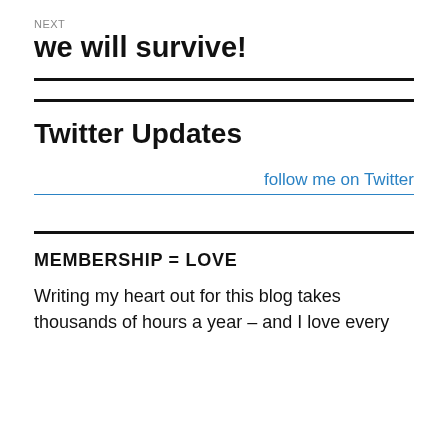NEXT
we will survive!
Twitter Updates
follow me on Twitter
MEMBERSHIP = LOVE
Writing my heart out for this blog takes thousands of hours a year – and I love every